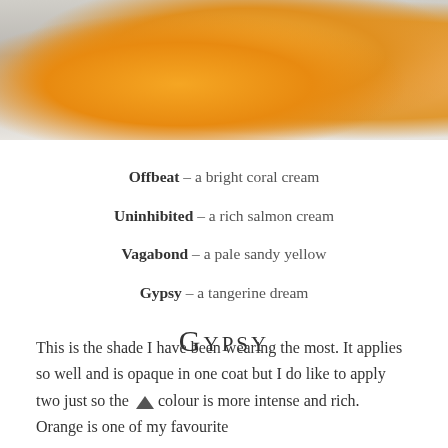[Figure (photo): Close-up photo of orange/tangerine nail polish bottles on a light wooden surface]
Offbeat – a bright coral cream
Uninhibited – a rich salmon cream
Vagabond – a pale sandy yellow
Gypsy – a tangerine dream
Gypsy
This is the shade I have been wearing the most. It applies so well and is opaque in one coat but I do like to apply two just so the colour is more intense and rich. Orange is one of my favourite